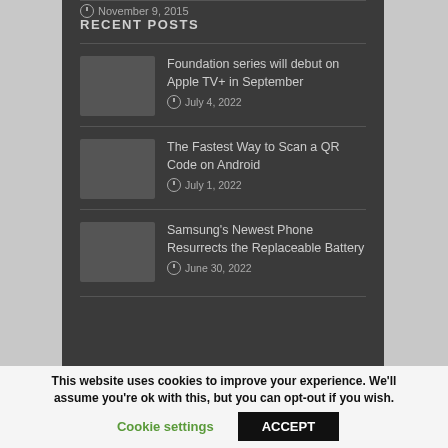November 9, 2015
RECENT POSTS
Foundation series will debut on Apple TV+ in September — July 4, 2022
The Fastest Way to Scan a QR Code on Android — July 1, 2022
Samsung's Newest Phone Resurrects the Replaceable Battery — June 30, 2022
This website uses cookies to improve your experience. We'll assume you're ok with this, but you can opt-out if you wish. Cookie settings ACCEPT